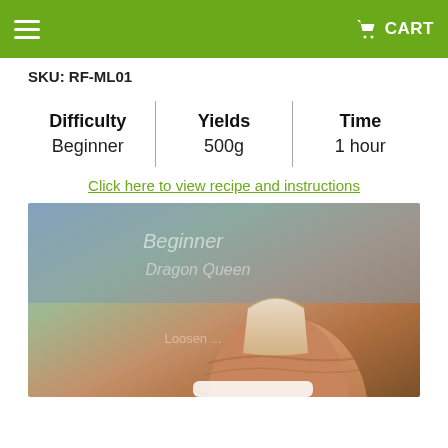CART
SKU: RF-ML01
| Difficulty | Yields | Time |
| --- | --- | --- |
| Beginner | 500g | 1 hour |
Click here to view recipe and instructions
[Figure (photo): Close-up photo of a finger/nail with blurred overlay text reading 'Beginner', 'Dragon Queen', 'Loosen...' in white on a mixed warm/cool background]